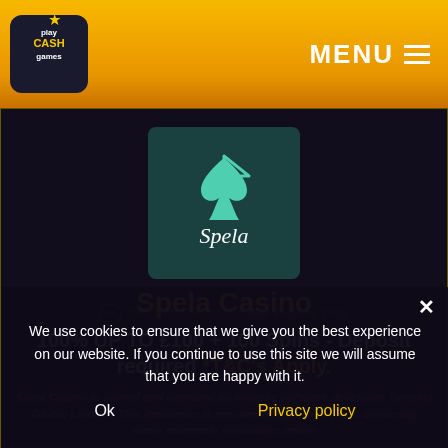Play Cash Games — MENU
[Figure (logo): Spela casino logo on dark teal background with play button icon and Spela wordmark]
Spela Casino
100% UP TO £100 + 100 Spins - Deposit required *T&C's Apply.
18+ BeGambleAware.org New Players Only
Spela Casino is owned and operated by Maltese software developer Genesis Global Limited. This developer is renowned for creating and delivering many extremely innovative online
We use cookies to ensure that we give you the best experience on our website. If you continue to use this site we will assume that you are happy with it.
Ok    Privacy policy